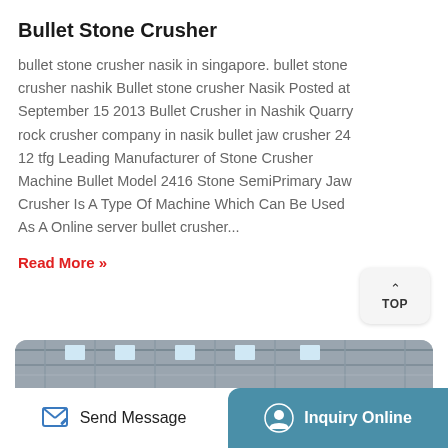Bullet Stone Crusher
bullet stone crusher nasik in singapore. bullet stone crusher nashik Bullet stone crusher Nasik Posted at September 15 2013 Bullet Crusher in Nashik Quarry rock crusher company in nasik bullet jaw crusher 24 12 tfg Leading Manufacturer of Stone Crusher Machine Bullet Model 2416 Stone SemiPrimary Jaw Crusher Is A Type Of Machine Which Can Be Used As A Online server bullet crusher...
Read More »
[Figure (photo): Industrial factory interior with stone crusher machinery, showing a large red flywheel, structural steel framework and warehouse roof.]